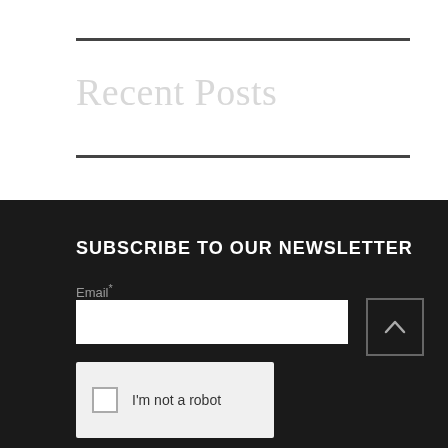Recent Posts
SUBSCRIBE TO OUR NEWSLETTER
Email*
I'm not a robot